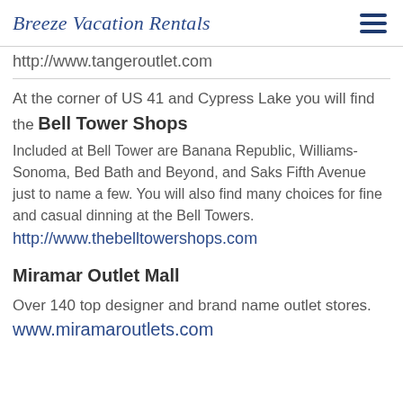Breeze Vacation Rentals
http://www.tangeroutlet.com
At the corner of US 41 and Cypress Lake you will find the Bell Tower Shops
Included at Bell Tower are Banana Republic, Williams-Sonoma, Bed Bath and Beyond, and Saks Fifth Avenue just to name a few. You will also find many choices for fine and casual dinning at the Bell Towers. http://www.thebelltowershops.com
Miramar Outlet Mall
Over 140 top designer and brand name outlet stores. www.miramaroutlets.com